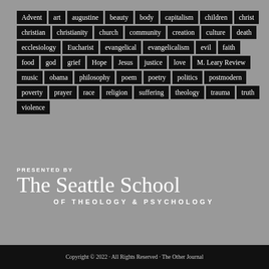[Figure (infographic): Tag cloud of topics: Advent, art, augustine, beauty, body, capitalism, children, christ, christian, christianity, church, community, creation, culture, death, ecclesiology, Eucharist, evangelical, evangelicalism, evil, faith, food, god, grief, Hope, Jesus, justice, love, M. Leary Review, music, obama, philosophy, poem, poetry, politics, postmodern, poverty, prayer, race, religion, suffering, theology, trauma, truth, violence. Each word displayed as a white-text label on black background.]
PRESENTED BY
The Seattle School
OF THEOLOGY & PSYCHOLOGY
Copyright © 2022 · All Rights Reserved · The Other Journal